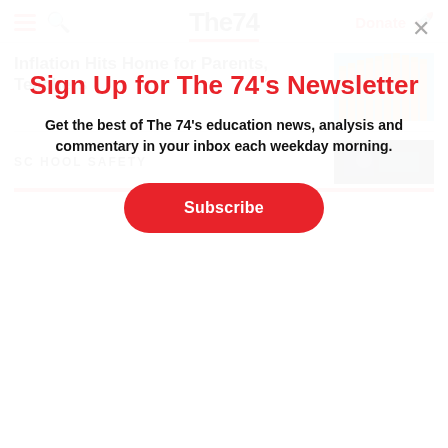The74 — navigation bar with hamburger menu, search icon, The74 logo, Donate link and rocket icon
Inflation Hits Home for Parents, Teachers
[Figure (photo): Thumbnail image of pencils, orange and teal tones]
SCHOOL SAFETY
[Figure (photo): Dark thumbnail image related to school safety article]
Sign Up for The 74's Newsletter
Get the best of The 74's education news, analysis and commentary in your inbox each weekday morning.
Subscribe